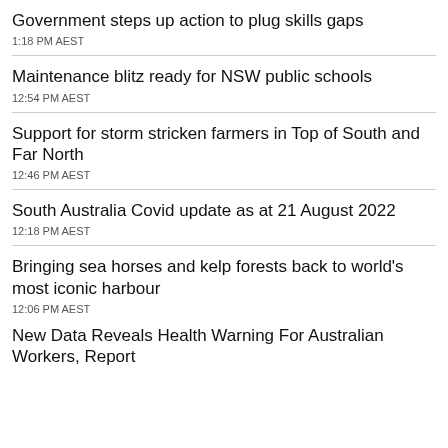Government steps up action to plug skills gaps
1:18 PM AEST
Maintenance blitz ready for NSW public schools
12:54 PM AEST
Support for storm stricken farmers in Top of South and Far North
12:46 PM AEST
South Australia Covid update as at 21 August 2022
12:18 PM AEST
Bringing sea horses and kelp forests back to world's most iconic harbour
12:06 PM AEST
New Data Reveals Health Warning For Australian Workers, Report